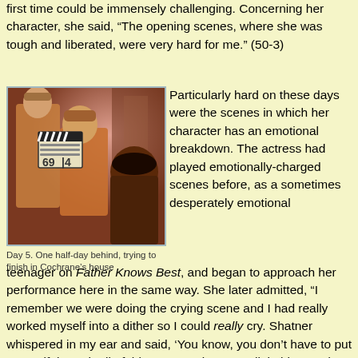first time could be immensely challenging. Concerning her character, she said, “The opening scenes, where she was tough and liberated, were very hard for me.” (50-3)
[Figure (photo): Behind-the-scenes photo from Star Trek showing actors on set, one holding a clapperboard, in orange/gold Starfleet uniforms under reddish lighting.]
Day 5. One half-day behind, trying to finish in Cochrane’s house
Particularly hard on these days were the scenes in which her character has an emotional breakdown. The actress had played emotionally-charged scenes before, as a sometimes desperately emotional teenager on Father Knows Best, and began to approach her performance here in the same way. She later admitted, “I remember we were doing the crying scene and I had really worked myself into a dither so I could really cry. Shatner whispered in my ear and said, ‘You know, you don’t have to put yourself through all of this. You can just act a little bit; you don’t really have to cry.’ And he was absolutely right. You don’t have to get yourself all in a